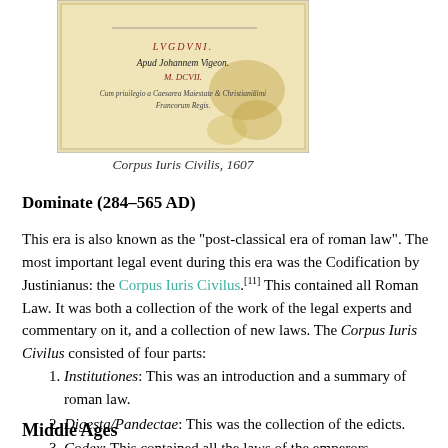[Figure (photo): Old book title page showing 'LVGDVNI. Apud Johannem Vigeon. M.DCVII.' with aged yellowish paper and decorative text]
Corpus Iuris Civilis, 1607
Dominate (284–565 AD)
This era is also known as the "post-classical era of roman law". The most important legal event during this era was the Codification by Justinianus: the Corpus Iuris Civilus.[11] This contained all Roman Law. It was both a collection of the work of the legal experts and commentary on it, and a collection of new laws. The Corpus Iuris Civilus consisted of four parts:
Institutiones: This was an introduction and a summary of roman law.
Digesta/Pandectae: This was the collection of the edicts.
Codex: This contained all the laws of the emperors.
Novellae: This contained all new laws created.
Middle Ages